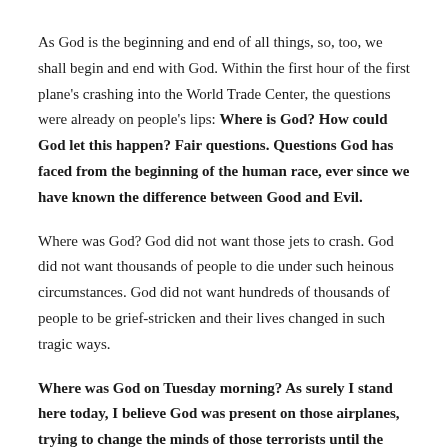As God is the beginning and end of all things, so, too, we shall begin and end with God. Within the first hour of the first plane's crashing into the World Trade Center, the questions were already on people's lips: Where is God? How could God let this happen? Fair questions. Questions God has faced from the beginning of the human race, ever since we have known the difference between Good and Evil.
Where was God? God did not want those jets to crash. God did not want thousands of people to die under such heinous circumstances. God did not want hundreds of thousands of people to be grief-stricken and their lives changed in such tragic ways.
Where was God on Tuesday morning? As surely I stand here today, I believe God was present on those airplanes, trying to change the minds of those terrorists until the final moment, giving courage to those who resisted, and peace to those who knew they were dying. God was present at the World Trade Center and the Pentagon, giving courage and grace to the thousands who helped others to safety, even at the cost of their own life,